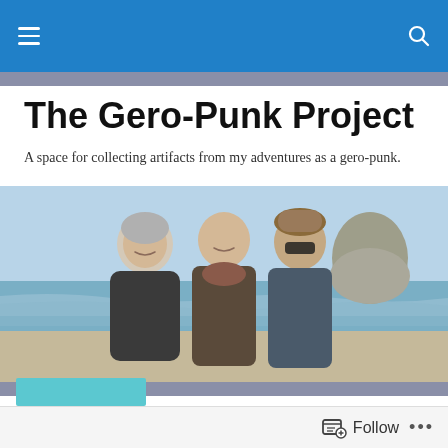The Gero-Punk Project [navigation bar]
The Gero-Punk Project
A space for collecting artifacts from my adventures as a gero-punk.
[Figure (photo): Three women smiling together at a beach with a large rock formation in the background and ocean waves visible]
Gero-Punk Adventures: A lot can happen in 15 seconds!
Follow  •••